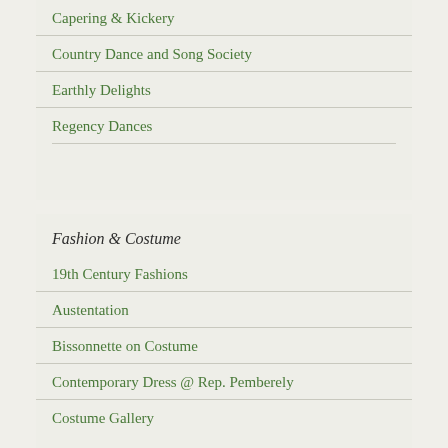Capering & Kickery
Country Dance and Song Society
Earthly Delights
Regency Dances
Fashion & Costume
19th Century Fashions
Austentation
Bissonnette on Costume
Contemporary Dress @ Rep. Pemberely
Costume Gallery